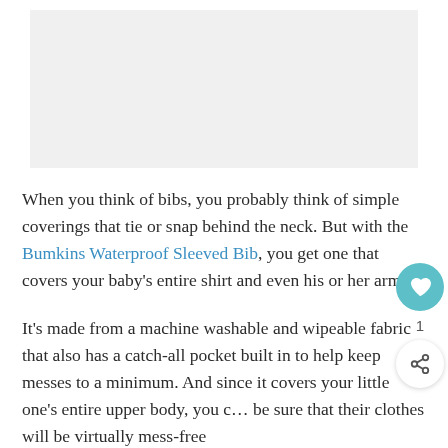[Figure (other): Image placeholder / blank gray rectangle at top of page]
When you think of bibs, you probably think of simple coverings that tie or snap behind the neck. But with the Bumkins Waterproof Sleeved Bib, you get one that covers your baby's entire shirt and even his or her arms.
It's made from a machine washable and wipeable fabric that also has a catch-all pocket built in to help keep messes to a minimum. And since it covers your little one's entire upper body, you can be sure that their clothes will be virtually mess-free